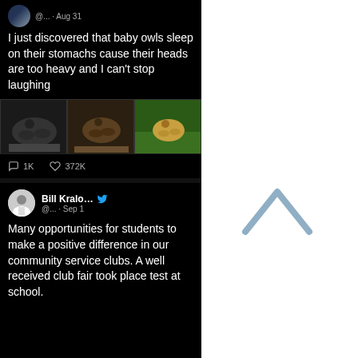[Figure (screenshot): Screenshot of a Twitter/social media post showing '@... · Aug 31' with text about baby owls and three photos of baby owls sleeping on their stomachs, with 1K comments and 372K likes]
I just discovered that baby owls sleep on their stomachs cause their heads are too heavy and I can't stop laughing
[Figure (photo): Three photos of baby owls sleeping face-down on their stomachs]
1K  372K
[Figure (screenshot): Screenshot of a Twitter post by Bill Kralo... (@... · Sep 1) with Twitter verified bird icon]
Many opportunities for students to make a positive difference in our community service clubs. A well received club fair took place test at school.